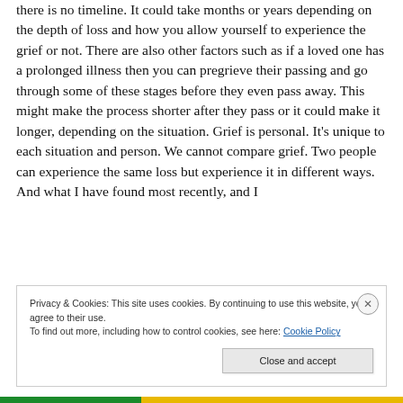there is no timeline. It could take months or years depending on the depth of loss and how you allow yourself to experience the grief or not. There are also other factors such as if a loved one has a prolonged illness then you can pregrieve their passing and go through some of these stages before they even pass away. This might make the process shorter after they pass or it could make it longer, depending on the situation. Grief is personal. It's unique to each situation and person. We cannot compare grief. Two people can experience the same loss but experience it in different ways. And what I have found most recently, and I
Privacy & Cookies: This site uses cookies. By continuing to use this website, you agree to their use.
To find out more, including how to control cookies, see here: Cookie Policy